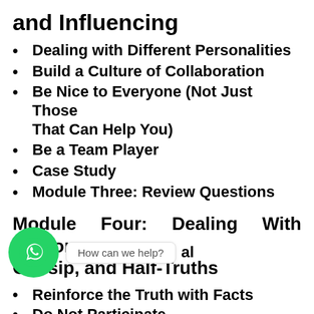and Influencing
Dealing with Different Personalities
Build a Culture of Collaboration
Be Nice to Everyone (Not Just Those That Can Help You)
Be a Team Player
Case Study
Module Three: Review Questions
Module Four: Dealing With Rumors, Gossip, and Half-Truths
...al
Reinforce the Truth with Facts
Do Not Participate...